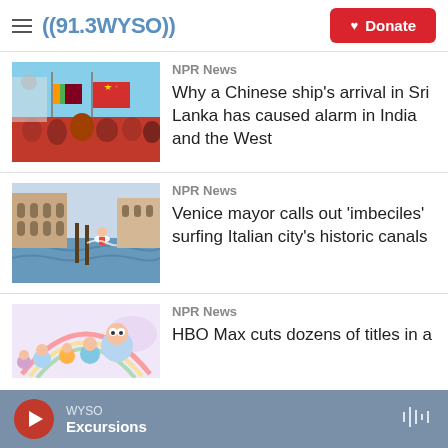((91.3 WYSO)) Donate
NPR News
[Figure (photo): People in red shirts waving Chinese and Sri Lankan flags outdoors]
Why a Chinese ship's arrival in Sri Lanka has caused alarm in India and the West
NPR News
[Figure (photo): Person surfing or wakeboarding in a Venice canal with historic buildings in background]
Venice mayor calls out 'imbeciles' surfing Italian city's historic canals
NPR News
[Figure (photo): Animated cartoon characters illustration with rainbow background]
HBO Max cuts dozens of titles in a
WYSO Excursions